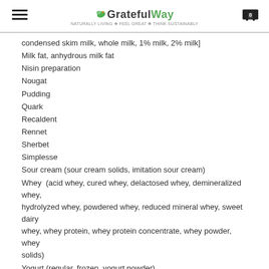GratefulWay
condensed skim milk, whole milk, 1% milk, 2% milk]
Milk fat, anhydrous milk fat
Nisin preparation
Nougat
Pudding
Quark
Recaldent
Rennet
Sherbet
Simplesse
Sour cream (sour cream solids, imitation sour cream)
Whey (acid whey, cured whey, delactosed whey, demineralized whey, hydrolyzed whey, powdered whey, reduced mineral whey, sweet dairy whey, whey protein, whey protein concentrate, whey powder, whey solids)
Yogurt (regular, frozen, yogurt powder)
The following ingredients MAY contain milk protein: